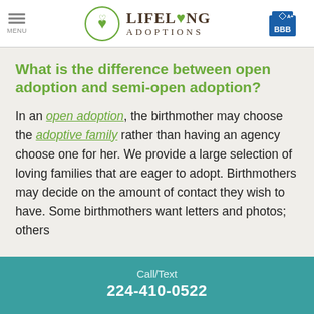[Figure (logo): Lifelong Adoptions logo with circular heart emblem, company name, and BBB A+ badge in header]
What is the difference between open adoption and semi-open adoption?
In an open adoption, the birthmother may choose the adoptive family rather than having an agency choose one for her. We provide a large selection of loving families that are eager to adopt. Birthmothers may decide on the amount of contact they wish to have. Some birthmothers want letters and photos; others
Call/Text
224-410-0522